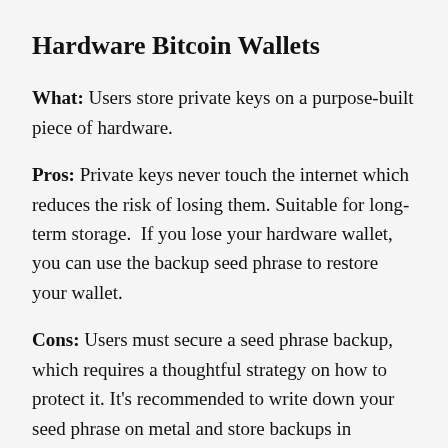Hardware Bitcoin Wallets
What: Users store private keys on a purpose-built piece of hardware.
Pros: Private keys never touch the internet which reduces the risk of losing them. Suitable for long-term storage.  If you lose your hardware wallet, you can use the backup seed phrase to restore your wallet.
Cons: Users must secure a seed phrase backup, which requires a thoughtful strategy on how to protect it. It’s recommended to write down your seed phrase on metal and store backups in